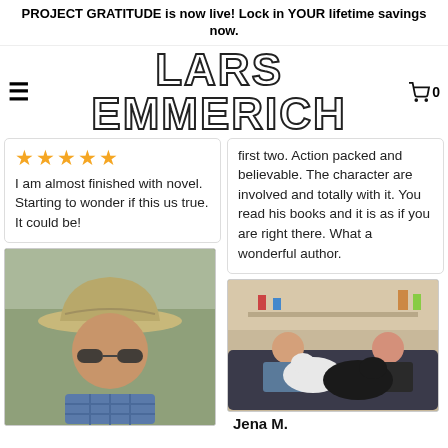PROJECT GRATITUDE is now live! Lock in YOUR lifetime savings now.
LARS EMMERICH
I am almost finished with novel. Starting to wonder if this us true. It could be!
first two. Action packed and believable. The character are involved and totally with it. You read his books and it is as if you are right there. What a wonderful author.
[Figure (photo): Man wearing a worn cowboy hat and sunglasses, close-up selfie outdoors with trees in background, wearing a plaid shirt.]
[Figure (photo): Two people sitting on a couch with large black and white dogs, indoor setting with shelves and decorations in background.]
Jena M.